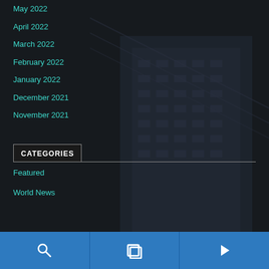May 2022
April 2022
March 2022
February 2022
January 2022
December 2021
November 2021
CATEGORIES
Featured
World News